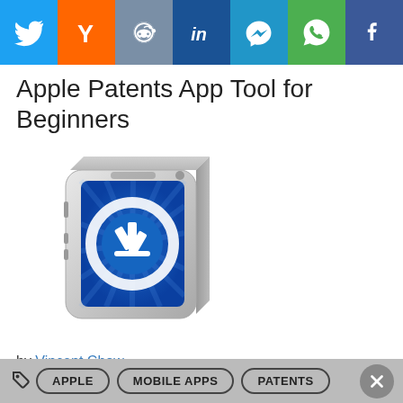[Figure (infographic): Social media share bar with icons: Twitter (blue), Hacker News Y (orange), Reddit (grey-blue), LinkedIn (dark blue), Messenger (blue), WhatsApp (green), Facebook (blue)]
Apple Patents App Tool for Beginners
[Figure (illustration): 3D illustration of a Mac mini-like device with the Apple App Store icon (blue background with white circle and 'A' pencil logo) on its front face]
by Vincent Chow
April 23, 2012
2 min read
APPLE   MOBILE APPS   PATENTS